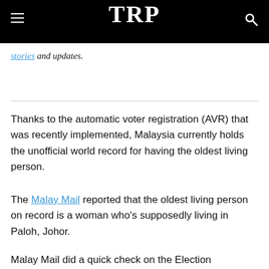TRP
stories and updates.
Thanks to the automatic voter registration (AVR) that was recently implemented, Malaysia currently holds the unofficial world record for having the oldest living person.
The Malay Mail reported that the oldest living person on record is a woman who's supposedly living in Paloh, Johor.
Malay Mail did a quick check on the Election Commission's (SPR) and found from the eligibility